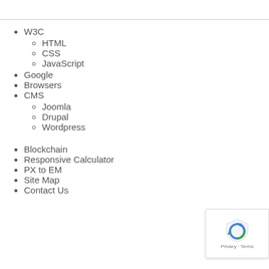W3C
HTML
CSS
JavaScript
Google
Browsers
CMS
Joomla
Drupal
Wordpress
Blockchain
Responsive Calculator
PX to EM
Site Map
Contact Us